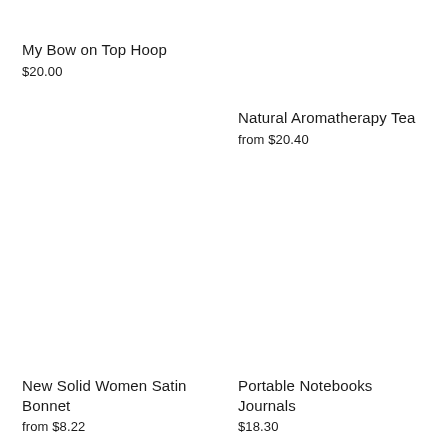My Bow on Top Hoop
$20.00
Natural Aromatherapy Tea
from $20.40
New Solid Women Satin Bonnet
from $8.22
Portable Notebooks Journals
$18.30